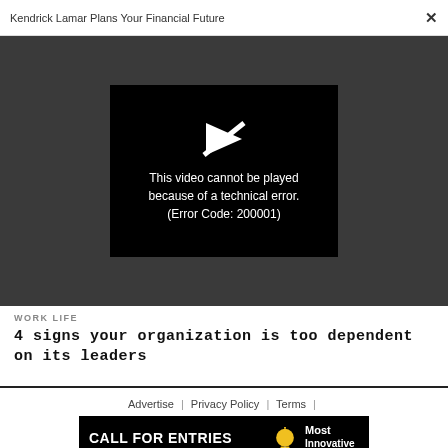Kendrick Lamar Plans Your Financial Future  ×
[Figure (screenshot): Video player showing error message: 'This video cannot be played because of a technical error. (Error Code: 200001)']
WORK LIFE
4 signs your organization is too dependent on its leaders
Advertise | Privacy Policy | Terms |
[Figure (infographic): Black banner ad: CALL FOR ENTRIES — DEADLINE: SEPTEMBER 23 — Most Innovative Companies with lightbulb icon]